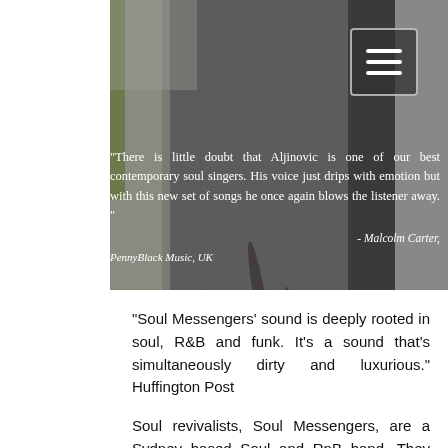[Figure (photo): Aerial view of a street/pavement with shadows of people, dark asphalt road with white/gray painted sections and a strip of vegetation.]
"There is little doubt that Aljinovic is one of our best contemporary soul singers. His voice just drips with emotion but with this new set of songs he once again blows the listener away. "
- Malcolm Carter, PennyBlack Music, UK
"Soul Messengers' sound is deeply rooted in soul, R&B and funk. It's a sound that's simultaneously dirty and luxurious." Huffington Post
Soul revivalists, Soul Messengers, are a Sydney based Soul and RnB band. They have released 3 studio albums and album #4 will drop soon. 2017's Vision & Faith reached #5 on the Australian Blues and Roots Airplay chart and their previous albums, 2013's 'I'm Alive', and 2015's 'Dirty Soul' also